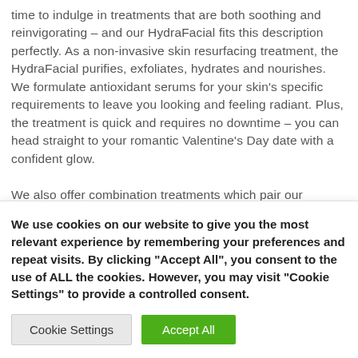time to indulge in treatments that are both soothing and reinvigorating – and our HydraFacial fits this description perfectly. As a non-invasive skin resurfacing treatment, the HydraFacial purifies, exfoliates, hydrates and nourishes. We formulate antioxidant serums for your skin's specific requirements to leave you looking and feeling radiant. Plus, the treatment is quick and requires no downtime – you can head straight to your romantic Valentine's Day date with a confident glow.

We also offer combination treatments which pair our
We use cookies on our website to give you the most relevant experience by remembering your preferences and repeat visits. By clicking "Accept All", you consent to the use of ALL the cookies. However, you may visit "Cookie Settings" to provide a controlled consent.